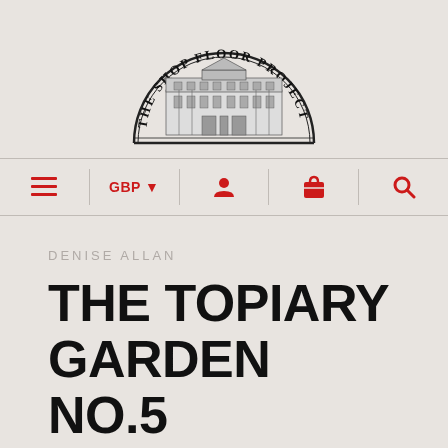[Figure (logo): The Shop Floor Project semicircular logo with an engraving of a grand building (Versailles-style palace) in the center, with the text 'THE SHOP FLOOR PROJECT' arranged in an arc around the top]
[Figure (infographic): Navigation bar with hamburger menu icon, GBP currency selector with dropdown arrow, user/account icon, shopping bag icon, and search/magnifying glass icon, all in red, separated by vertical dividers]
DENISE ALLAN
THE TOPIARY GARDEN NO.5
£225.00 GBP